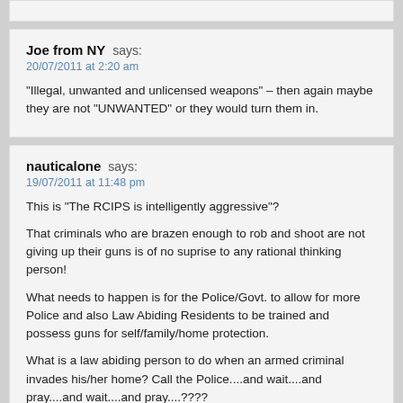(top of previous comment, partially visible)
Joe from NY says:
20/07/2011 at 2:20 am

"Illegal, unwanted and unlicensed weapons" – then again maybe they are not "UNWANTED" or they would turn them in.
nauticalone says:
19/07/2011 at 11:48 pm

This is "The RCIPS is intelligently aggressive"?

That criminals who are brazen enough to rob and shoot are not giving up their guns is of no suprise to any rational thinking person!

What needs to happen is for the Police/Govt. to allow for more Police and also Law Abiding Residents to be trained and possess guns for self/family/home protection.

What is a law abiding person to do when an armed criminal invades his/her home? Call the Police....and wait....and pray....and wait....and pray....????